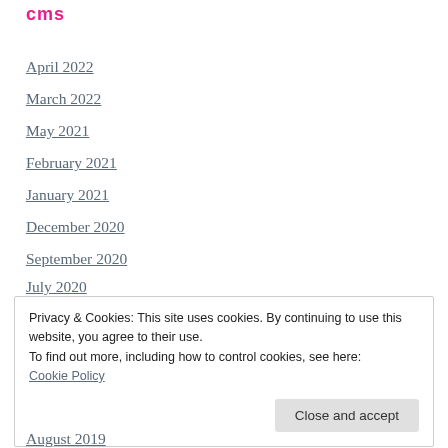cms
April 2022
March 2022
May 2021
February 2021
January 2021
December 2020
September 2020
July 2020
June 2020
May 2020
Privacy & Cookies: This site uses cookies. By continuing to use this website, you agree to their use. To find out more, including how to control cookies, see here: Cookie Policy
August 2019